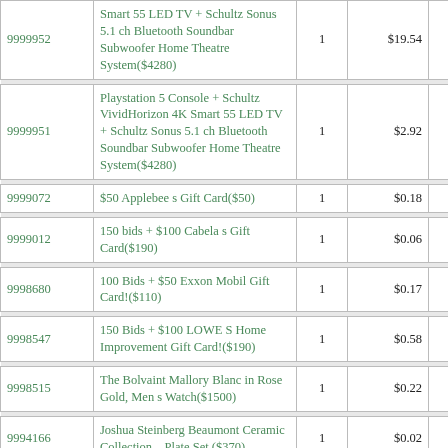| ID | Description | Qty | Price | Total |
| --- | --- | --- | --- | --- |
| 9999952 | Smart 55 LED TV + Schultz Sonus 5.1 ch Bluetooth Soundbar Subwoofer Home Theatre System($4280) | 1 | $19.54 | $756.33 |
| 9999951 | Playstation 5 Console + Schultz VividHorizon 4K Smart 55 LED TV + Schultz Sonus 5.1 ch Bluetooth Soundbar Subwoofer Home Theatre System($4280) | 1 | $2.92 | $769.08 |
| 9999072 | $50 Applebee s Gift Card($50) | 1 | $0.18 | $105.88 |
| 9999012 | 150 bids + $100 Cabela s Gift Card($190) | 1 | $0.06 | $33.18 |
| 9998680 | 100 Bids + $50 Exxon Mobil Gift Card!($110) | 1 | $0.17 | $41.03 |
| 9998547 | 150 Bids + $100 LOWE S Home Improvement Gift Card!($190) | 1 | $0.58 | $69.64 |
| 9998515 | The Bolvaint Mallory Blanc in Rose Gold, Men s Watch($1500) | 1 | $0.22 | $6.75 |
| 9994166 | Joshua Steinberg Beaumont Ceramic Collection – Plate Set ($370) | 1 | $0.02 | $11.94 |